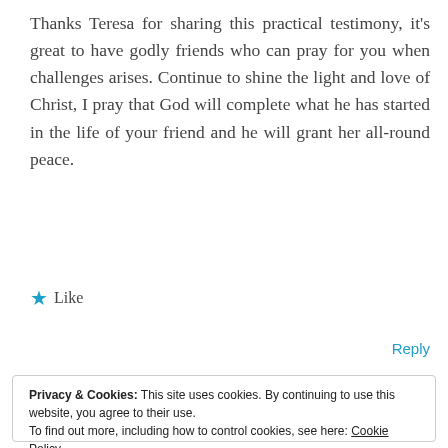Thanks Teresa for sharing this practical testimony, it's great to have godly friends who can pray for you when challenges arises. Continue to shine the light and love of Christ, I pray that God will complete what he has started in the life of your friend and he will grant her all-round peace.
★ Like
Reply
Privacy & Cookies: This site uses cookies. By continuing to use this website, you agree to their use.
To find out more, including how to control cookies, see here: Cookie Policy
Close and accept
negative emotion points to something that is wrong